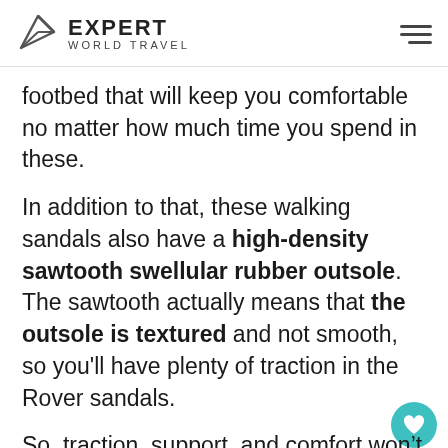EXPERT WORLD TRAVEL
footbed that will keep you comfortable no matter how much time you spend in these.
In addition to that, these walking sandals also have a high-density sawtooth swellular rubber outsole. The sawtooth actually means that the outsole is textured and not smooth, so you'll have plenty of traction in the Rover sandals.
So, traction, support, and comfort won't be a problem in these; what else should you be concerned about?
[Figure (other): What's Next promotional box showing 10 Best Travel Jackets with... alongside a thumbnail image of a person in a jacket]